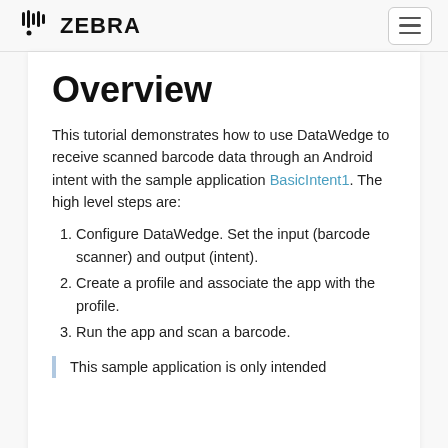ZEBRA
Overview
This tutorial demonstrates how to use DataWedge to receive scanned barcode data through an Android intent with the sample application BasicIntent1. The high level steps are:
Configure DataWedge. Set the input (barcode scanner) and output (intent).
Create a profile and associate the app with the profile.
Run the app and scan a barcode.
This sample application is only intended